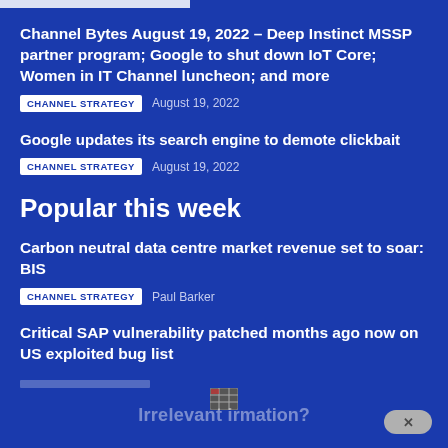Channel Bytes August 19, 2022 – Deep Instinct MSSP partner program; Google to shut down IoT Core; Women in IT Channel luncheon; and more
CHANNEL STRATEGY   August 19, 2022
Google updates its search engine to demote clickbait
CHANNEL STRATEGY   August 19, 2022
Popular this week
Carbon neutral data centre market revenue set to soar: BIS
CHANNEL STRATEGY   Paul Barker
Critical SAP vulnerability patched months ago now on US exploited bug list
Irrelevant information?